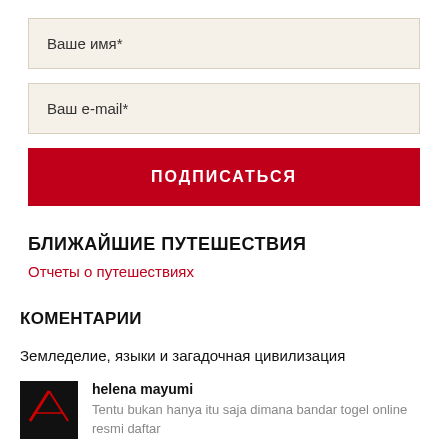Ваше имя*
Ваш e-mail*
ПОДПИСАТЬСЯ
БЛИЖАЙШИЕ ПУТЕШЕСТВИЯ
Отчеты о путешествиях
КОМЕНТАРИИ
Земледелие, языки и загадочная цивилизация
helena mayumi
Tentu bukan hanya itu saja dimana bandar togel online resmi daftar